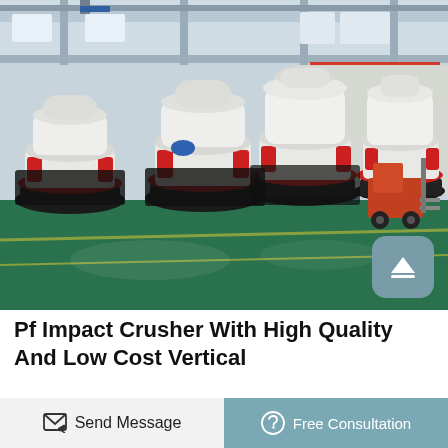[Figure (photo): Industrial factory interior showing multiple large cone crushers (white, with red accents) lined up on a green-painted factory floor. A forklift is visible on the right side. The factory has a high ceiling with structural beams. A red and blue banner with Chinese text is visible in the background.]
Pf Impact Crusher With High Quality And Low Cost Vertical
Bolivia aggregate ne crusher plant manufacturer